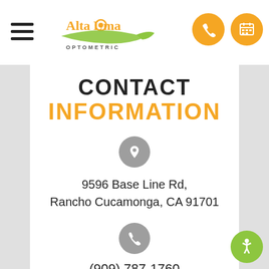[Figure (logo): Alta Loma Optometric logo with orange text and green swoosh eye shape]
CONTACT INFORMATION
9596 Base Line Rd, Rancho Cucamonga, CA 91701
(909) 787-1760
[Figure (infographic): Social media icons: Facebook, Google, Instagram in dark circles]